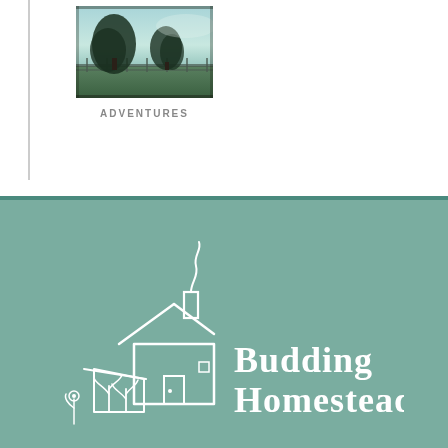[Figure (photo): Outdoor landscape photo showing two large trees against a light sky with a fence or railing in the foreground, green pastoral setting]
ADVENTURES
[Figure (logo): Budding Homestead logo: white hand-drawn illustration of a house with chimney smoke and garden plants on a teal/sage green background, with the text 'Budding Homestead' in white hand-lettered style]